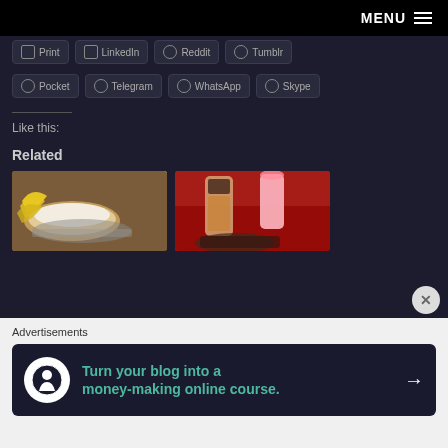MENU ≡
[Figure (screenshot): Social share buttons row partially visible: Print, LinkedIn, Reddit, Tumblr buttons cut off at top]
[Figure (screenshot): Social share buttons row 2: Pocket, Telegram, WhatsApp, Skype]
Like this:
Related
[Figure (photo): Food photo showing bananas and a cream pie on a plate]
[Figure (photo): Drinks photo showing coffee latte and pink milkshake with food items]
Advertisements
[Figure (screenshot): Advertisement banner: Turn your blog into a money-making online course. with arrow button]